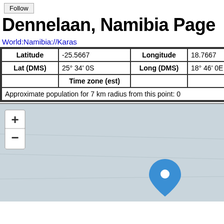Follow
Dennelaan, Namibia Page
World:Namibia://Karas
| Latitude | -25.5667 | Longitude | 18.7667 |
| --- | --- | --- | --- |
| Lat (DMS) | 25° 34' 0S | Long (DMS) | 18° 46' 0E |
|  | Time zone (est) |  |  |
Approximate population for 7 km radius from this point: 0
[Figure (map): Map showing location of Dennelaan, Namibia with a blue location pin marker. Map has zoom in (+) and zoom out (-) controls in the top left. The map background is grey/light blue-grey indicating terrain.]